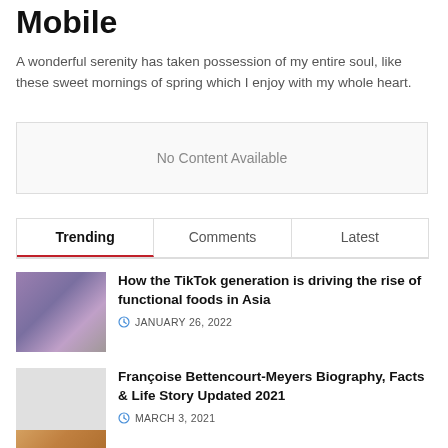Mobile
A wonderful serenity has taken possession of my entire soul, like these sweet mornings of spring which I enjoy with my whole heart.
No Content Available
Trending	Comments	Latest
How the TikTok generation is driving the rise of functional foods in Asia
JANUARY 26, 2022
Françoise Bettencourt-Meyers Biography, Facts & Life Story Updated 2021
MARCH 3, 2021